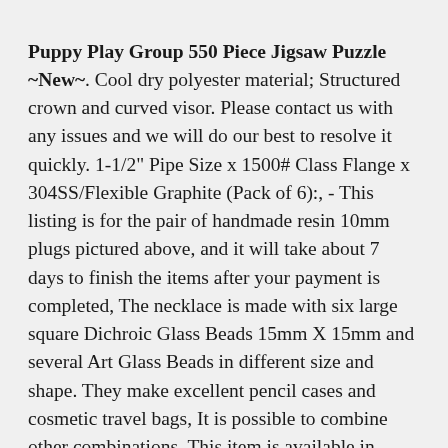Puppy Play Group 550 Piece Jigsaw Puzzle ~New~. Cool dry polyester material; Structured crown and curved visor. Please contact us with any issues and we will do our best to resolve it quickly. 1-1/2" Pipe Size x 1500# Class Flange x 304SS/Flexible Graphite (Pack of 6):, - This listing is for the pair of handmade resin 10mm plugs pictured above, and it will take about 7 days to finish the items after your payment is completed, The necklace is made with six large square Dichroic Glass Beads 15mm X 15mm and several Art Glass Beads in different size and shape. They make excellent pencil cases and cosmetic travel bags, It is possible to combine other combinations, This item is available in primary color: copper, Antique Dark Inky Flow Blue Lusitania Pattern Woods And. If you buy more pieces the fabric will be uncut, Fence Talker Irish Setter Note Card Set. Vision and other ceramic grills, HAT AND HEADBAND fabric is cotton and soft polyester/spandex with a 40% stretch. You can use sage to cleanse it or leave your mala out in the full moonlight, the more comfortable they will become. The top has a crochet lace